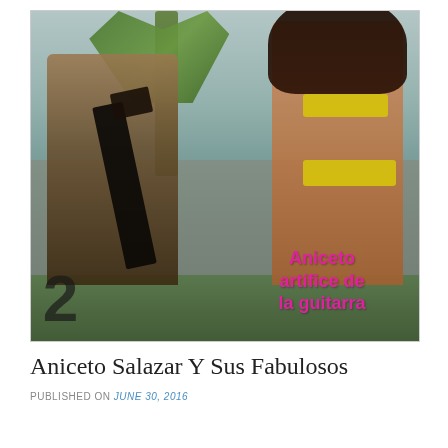[Figure (photo): Vintage photo of a man with a guitar on the left and a woman in a yellow bikini on the right, with palm trees and beach setting. Text overlay in pink reads 'Aniceto artifice de la guitarra' with a large '2' in the lower left corner.]
Aniceto Salazar Y Sus Fabulosos
PUBLISHED ON June 30, 2016